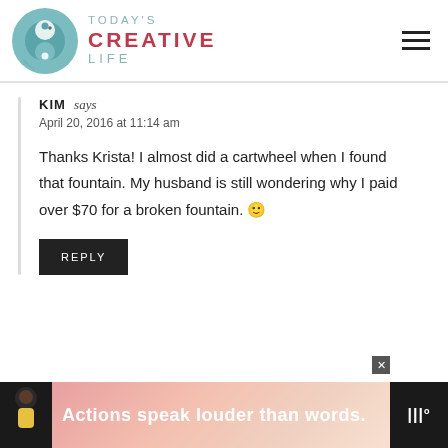[Figure (logo): Today's Creative Life logo with teal bird circle icon and text]
KIM says
April 20, 2016 at 11:14 am
Thanks Krista! I almost did a cartwheel when I found that fountain. My husband is still wondering why I paid over $70 for a broken fountain. 🙂
REPLY
[Figure (infographic): Advertisement banner: Actions speak louder than words. Dark background with person illustration and brand logo.]